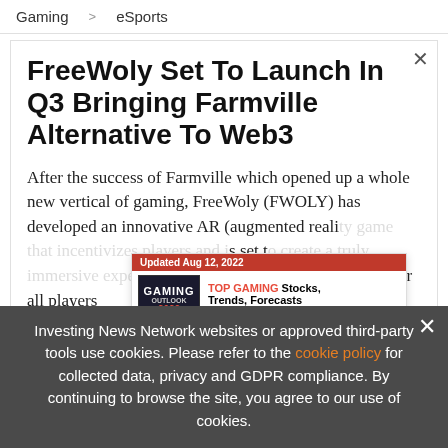Gaming > eSports
FreeWoly Set To Launch In Q3 Bringing Farmville Alternative To Web3
After the success of Farmville which opened up a whole new vertical of gaming, FreeWoly (FWOLY) has developed an innovative AR (augmented reali... set t... provide monetary rewards for all players
[Figure (screenshot): Advertisement banner: Updated Aug 12, 2022 - TOP GAMING Stocks, Trends, Forecasts - 2022 Gaming Outlook Report - INN logo]
Investing News Network websites or approved third-party tools use cookies. Please refer to the cookie policy for collected data, privacy and GDPR compliance. By continuing to browse the site, you agree to our use of cookies.